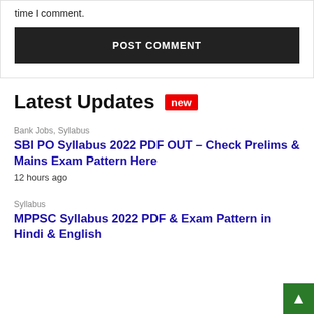time I comment.
POST COMMENT
Latest Updates new
Bank Jobs, Syllabus
SBI PO Syllabus 2022 PDF OUT – Check Prelims & Mains Exam Pattern Here
12 hours ago
Syllabus
MPPSC Syllabus 2022 PDF & Exam Pattern in Hindi & English